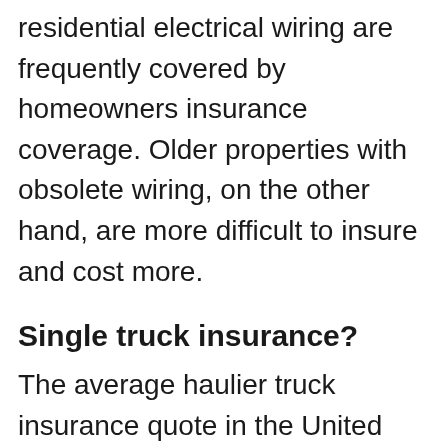residential electrical wiring are frequently covered by homeowners insurance coverage. Older properties with obsolete wiring, on the other hand, are more difficult to insure and cost more.
Single truck insurance?
The average haulier truck insurance quote in the United Kingdom ranges from £1500+